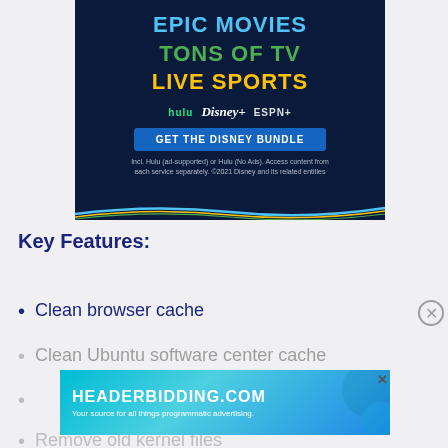[Figure (illustration): Disney Bundle advertisement banner with dark navy background showing 'EPIC MOVIES' in blue, 'TONS OF TV' in green, 'LIVE SPORTS' in yellow, Hulu/Disney+/ESPN+ logos, a 'GET THE DISNEY BUNDLE' blue button, and fine print about the offer.]
Key Features:
Clean browser cache
Clean Ubuntu software center cache
Remove apt repository cache
Remove old kernel files
[Figure (illustration): HEADERBIDDING.COM advertisement banner with teal/blue gradient background, white bold text 'HEADERBIDDING.COM' and subtitle 'Your source for all things programmatic advertising.']